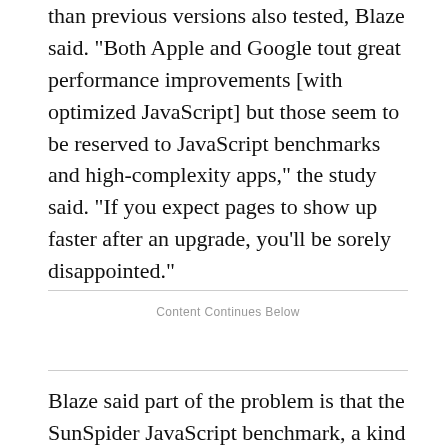than previous versions also tested, Blaze said. "Both Apple and Google tout great performance improvements [with optimized JavaScript] but those seem to be reserved to JavaScript benchmarks and high-complexity apps," the study said. "If you expect pages to show up faster after an upgrade, you'll be sorely disappointed."
Content Continues Below
Blaze said part of the problem is that the SunSpider JavaScript benchmark, a kind of custom test used by Apple and Google, and